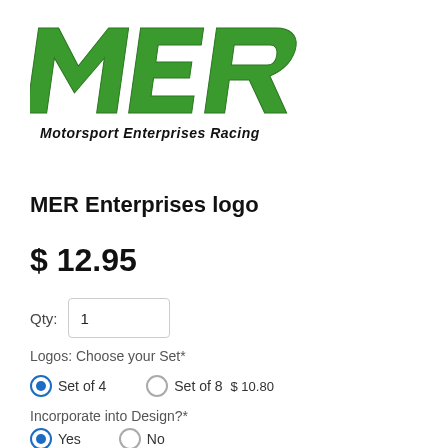[Figure (logo): MER Motorsport Enterprises Racing logo — large bold green italic letters M, E, R above italic black text 'Motorsport Enterprises Racing']
MER Enterprises logo
$ 12.95
Qty: 1
Logos: Choose your Set*
Set of 4 (selected) • Set of 8 $10.80
Incorporate into Design?*
Yes (selected) • No